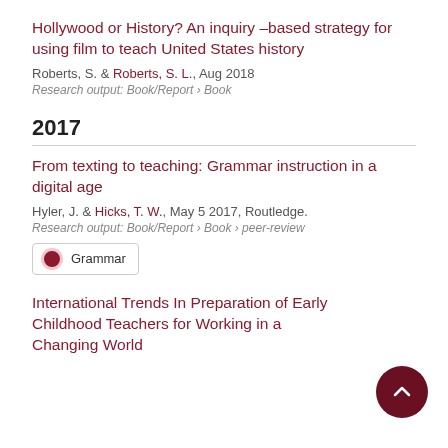Hollywood or History? An inquiry –based strategy for using film to teach United States history
Roberts, S. & Roberts, S. L., Aug 2018
Research output: Book/Report › Book
2017
From texting to teaching: Grammar instruction in a digital age
Hyler, J. & Hicks, T. W., May 5 2017, Routledge.
Research output: Book/Report › Book › peer-review
Grammar
International Trends In Preparation of Early Childhood Teachers for Working in a Changing World